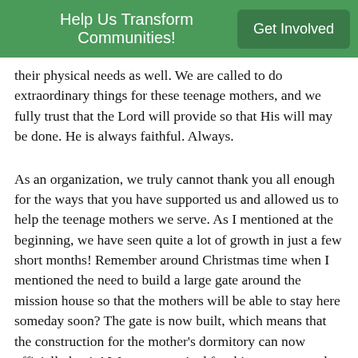Help Us Transform Communities! | Get Involved
their physical needs as well. We are called to do extraordinary things for these teenage mothers, and we fully trust that the Lord will provide so that His will may be done. He is always faithful. Always.
As an organization, we truly cannot thank you all enough for the ways that you have supported us and allowed us to help the teenage mothers we serve. As I mentioned at the beginning, we have seen quite a lot of growth in just a few short months! Remember around Christmas time when I mentioned the need to build a large gate around the mission house so that the mothers will be able to stay here someday soon? The gate is now built, which means that the construction for the mother's dormitory can now officially begin! We are so excited for this next step and so blessed by the support of all of our benefactors- you are making such a huge difference! We have set the date for the ground breaking of the dormitory to be on February 8th in the ceremony and if you would like to join